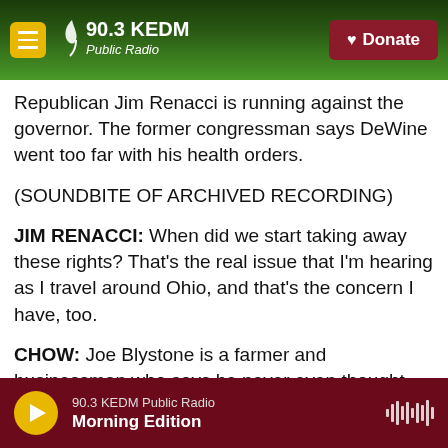90.3 KEDM Public Radio
Republican Jim Renacci is running against the governor. The former congressman says DeWine went too far with his health orders.
(SOUNDBITE OF ARCHIVED RECORDING)
JIM RENACCI: When did we start taking away these rights? That's the real issue that I'm hearing as I travel around Ohio, and that's the concern I have, too.
CHOW: Joe Blystone is a farmer and businessman who says he never even thought about running for public office until DeWine's COVID-19...
90.3 KEDM Public Radio — Morning Edition